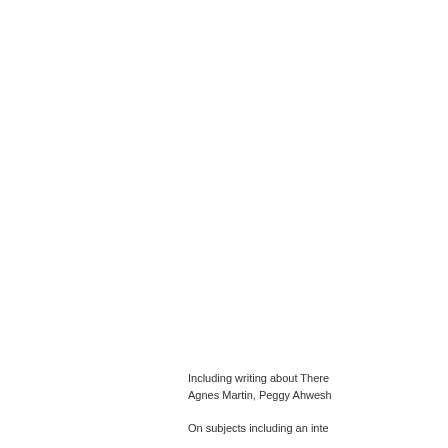Including writing about There Agnes Martin, Peggy Ahwesh
On subjects including an inte